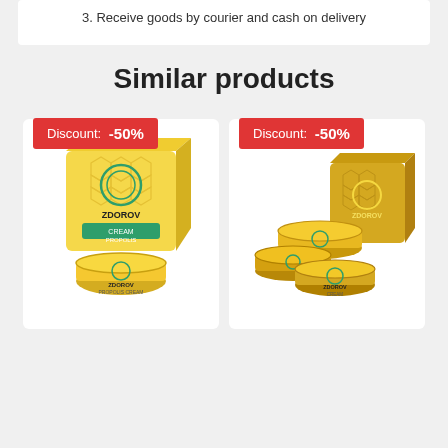3. Receive goods by courier and cash on delivery
Similar products
[Figure (photo): Discount badge: -50%, product photo of ZDOROV cream propolis box and open jar]
[Figure (photo): Discount badge: -50%, product photo of ZDOROV stacked cream jars and box]